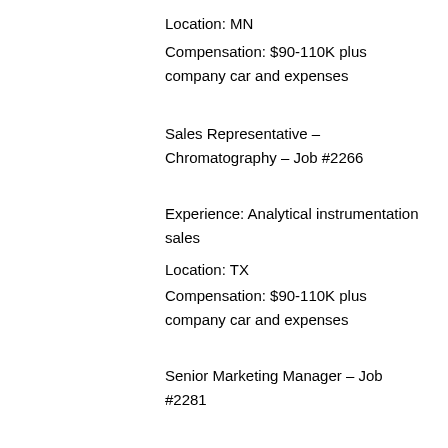Location: MN
Compensation: $90-110K plus company car and expenses
Sales Representative – Chromatography – Job #2266
Experience: Analytical instrumentation sales
Location: TX
Compensation: $90-110K plus company car and expenses
Senior Marketing Manager – Job #2281
Experience: Marketing management, immunoassay
Location: IL
Compensation: $110-115K plus ESOP and benefits